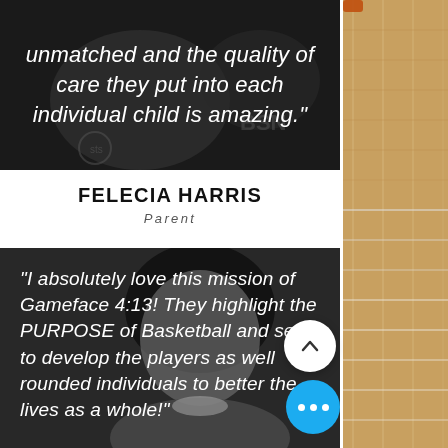[Figure (photo): Dark grayscale photo with overlaid italic white quote text: 'unmatched and the quality of care they put into each individual child is amazing.' with BSN logo visible]
FELECIA HARRIS
Parent
[Figure (photo): Grayscale photo of a woman with overlaid italic white quote text: 'I absolutely love this mission of Gameface 4:13! They highlight the PURPOSE of Basketball and seek to develop the players as well rounded individuals to better the lives as a whole!']